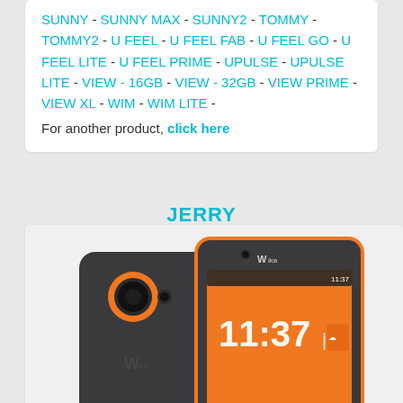SUNNY - SUNNY MAX - SUNNY2 - TOMMY - TOMMY2 - U FEEL - U FEEL FAB - U FEEL GO - U FEEL LITE - U FEEL PRIME - UPULSE - UPULSE LITE - VIEW - 16GB - VIEW - 32GB - VIEW PRIME - VIEW XL - WIM - WIM LITE -
For another product, click here
JERRY
[Figure (photo): Two Wiko Jerry smartphones shown from front and back. The back of one phone is dark gray/charcoal with an orange camera ring accent. The front shows the phone's display with an orange screen showing the time 11:37 and weather info. The Wiko brand logo is visible on the front phone.]